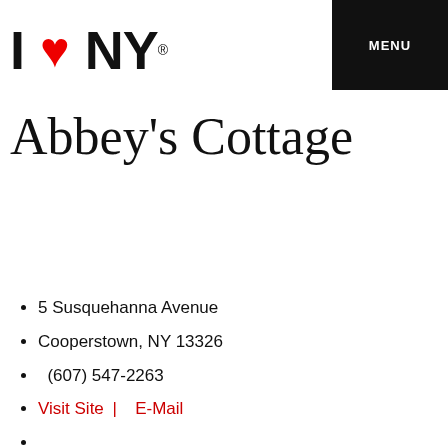I ❤ NY  MENU
Abbey's Cottage
5 Susquehanna Avenue
Cooperstown, NY 13326
(607) 547-2263
Visit Site |  E-Mail